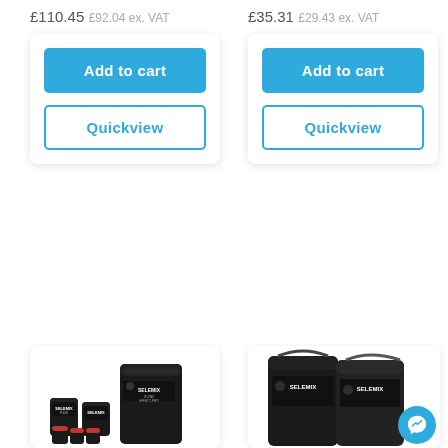£110.45 £92.04 ex. VAT
£35.31 £29.43 ex. VAT
Add to cart
Add to cart
Quickview
Quickview
[Figure (photo): Selemix product set in dark packaging, small cans and a larger container]
[Figure (photo): Two large Selemix dark paint cans with a Messenger chat bubble icon in the foreground]